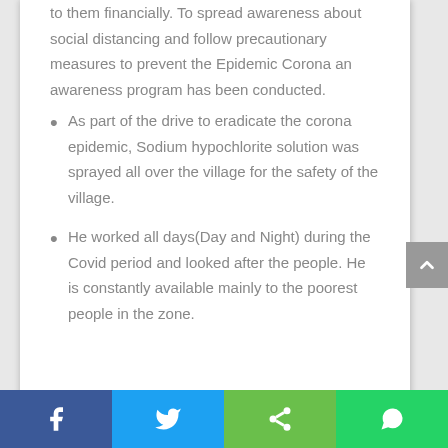to them financially. To spread awareness about social distancing and follow precautionary measures to prevent the Epidemic Corona an awareness program has been conducted.
As part of the drive to eradicate the corona epidemic, Sodium hypochlorite solution was sprayed all over the village for the safety of the village.
He worked all days(Day and Night) during the Covid period and looked after the people. He is constantly available mainly to the poorest people in the zone.